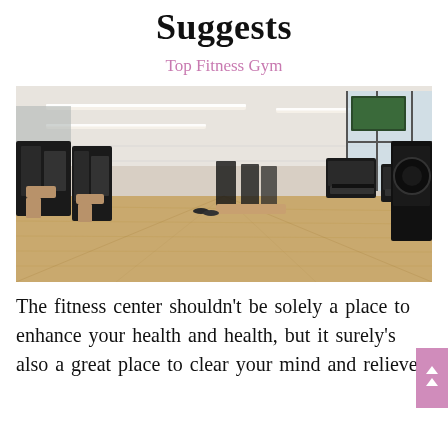Suggests
Top Fitness Gym
[Figure (photo): Interior of a modern fitness gym with black weight machines, treadmills, and wooden flooring. Large windows on the right side let in natural light. LED strip lighting on the ceiling.]
The fitness center shouldn't be solely a place to enhance your health and health, but it surely's also a great place to clear your mind and relieve